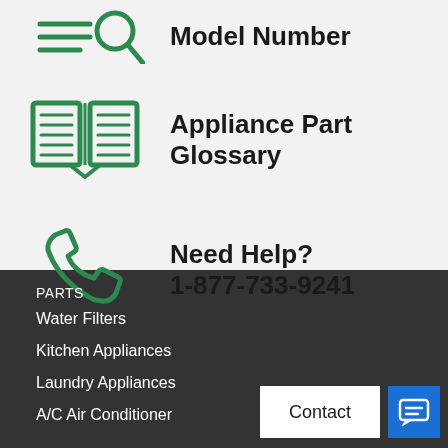[Figure (illustration): Green search/list icon (partially cropped at top)]
Model Number
[Figure (illustration): Green open book icon]
Appliance Part Glossary
[Figure (illustration): Green phone/call icon]
Need Help?
1-877-733-9241
PARTS
Water Filters
Kitchen Appliances
Laundry Appliances
A/C Air Conditioner